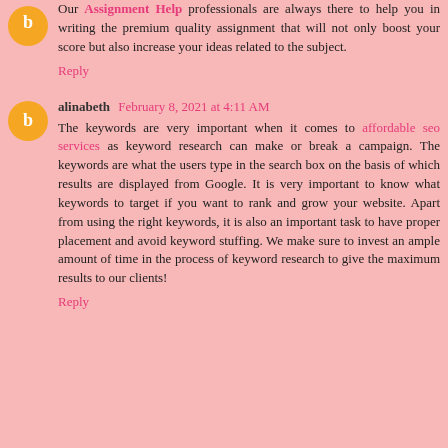Our Assignment Help professionals are always there to help you in writing the premium quality assignment that will not only boost your score but also increase your ideas related to the subject.
Reply
alinabeth February 8, 2021 at 4:11 AM
The keywords are very important when it comes to affordable seo services as keyword research can make or break a campaign. The keywords are what the users type in the search box on the basis of which results are displayed from Google. It is very important to know what keywords to target if you want to rank and grow your website. Apart from using the right keywords, it is also an important task to have proper placement and avoid keyword stuffing. We make sure to invest an ample amount of time in the process of keyword research to give the maximum results to our clients!
Reply